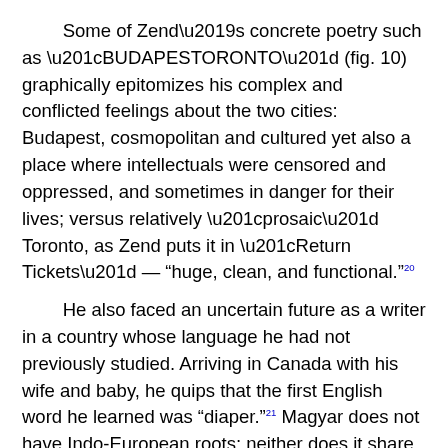Some of Zend’s concrete poetry such as “BUDAPESTORONTO” (fig. 10) graphically epitomizes his complex and conflicted feelings about the two cities: Budapest, cosmopolitan and cultured yet also a place where intellectuals were censored and oppressed, and sometimes in danger for their lives; versus relatively “prosaic” Toronto, as Zend puts it in “Return Tickets” — “huge, clean, and functional.”[20] He also faced an uncertain future as a writer in a country whose language he had not previously studied. Arriving in Canada with his wife and baby, he quips that the first English word he learned was “diaper.”[21] Magyar does not have Indo-European roots; neither does it share with English the etymological origins and grammatical structures (he describes Magyar as “extremely